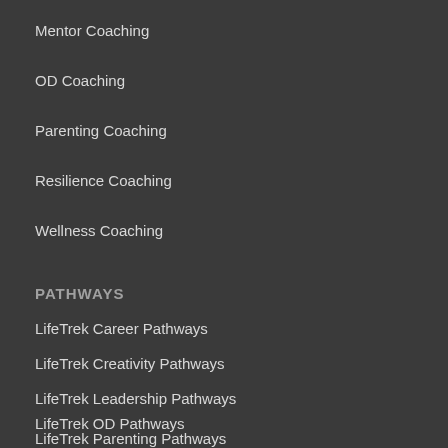Mentor Coaching
OD Coaching
Parenting Coaching
Resilience Coaching
Wellness Coaching
PATHWAYS
LifeTrek Career Pathways
LifeTrek Creativity Pathways
LifeTrek Leadership Pathways
LifeTrek OD Pathways
LifeTrek Parenting Pathways